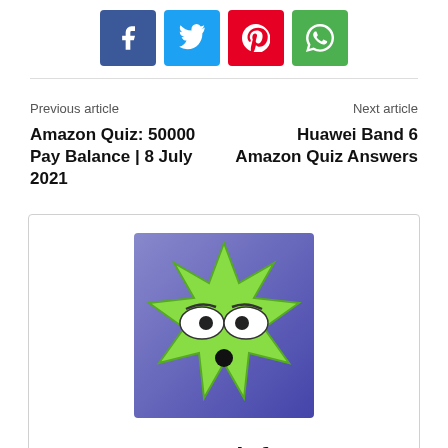[Figure (infographic): Social share buttons: Facebook (blue), Twitter (cyan), Pinterest (red), WhatsApp (green)]
Previous article
Next article
Amazon Quiz: 50000 Pay Balance | 8 July 2021
Huawei Band 6 Amazon Quiz Answers
[Figure (illustration): Cartoon star-shaped character with eyes and mouth on blue/purple background — Recentinfos logo]
Recentinfos
https://www.recentinfos.in
Hello I am Rohan Sorout, Founder of Recentinfos.in. I Used to